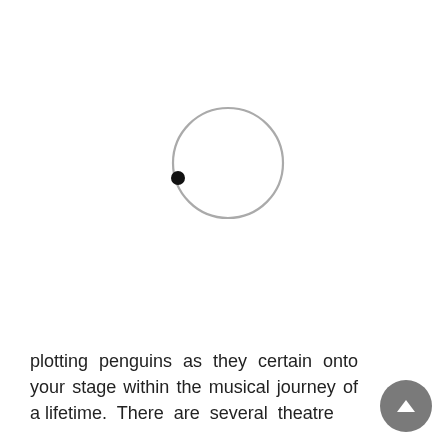[Figure (other): A simple circle outline (gray stroke) with a small filled black dot near the lower-left edge of the circle, centered in the upper portion of the page against a white background.]
plotting penguins as they certain onto your stage within the musical journey of a lifetime. There are several theatre